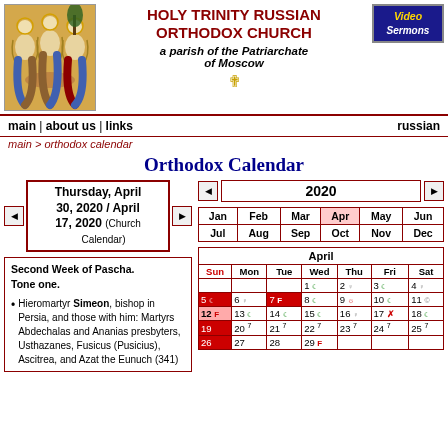[Figure (illustration): Russian Orthodox icon of the Holy Trinity — three angelic figures seated at a table, gold/blue tones]
HOLY TRINITY RUSSIAN ORTHODOX CHURCH
a parish of the Patriarchate of Moscow
[Figure (logo): Video Sermons badge — blue background with gold and white text]
main | about us | links    russian
main > orthodox calendar
Orthodox Calendar
Thursday, April 30, 2020 / April 17, 2020 (Church Calendar)
2020
| Jan | Feb | Mar | Apr | May | Jun |
| --- | --- | --- | --- | --- | --- |
| Jul | Aug | Sep | Oct | Nov | Dec |
| Sun | Mon | Tue | Wed | Thu | Fri | Sat |
| --- | --- | --- | --- | --- | --- | --- |
|  |  |  | 1 | 2 | 3 | 4 |
| 5 | 6 | 7 F | 8 | 9 | 10 | 11 |
| 12 F | 13 | 14 | 15 | 16 | 17 ✗ | 18 |
| 19 | 20 7 | 21 7 | 22 7 | 23 7 | 24 7 | 25 7 |
| 26 | 27 | 28 | 29 F |  |  |  |
Second Week of Pascha. Tone one.
Hieromartyr Simeon, bishop in Persia, and those with him: Martyrs Abdechalas and Ananias presbyters, Usthazanes, Fusicus (Pusicius), Ascitrea, and Azat the Eunuch (341)